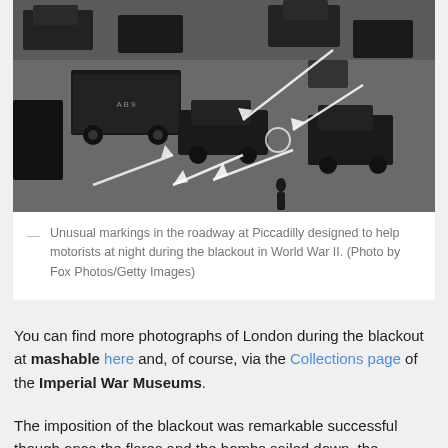[Figure (photo): Aerial black-and-white photograph of Piccadilly intersection showing vehicles and unusual white roadway markings with arrows designed to help motorists during World War II blackout. Photo by Fox Photos/Getty Images.]
— Unusual markings in the roadway at Piccadilly designed to help motorists at night during the blackout in World War II. (Photo by Fox Photos/Getty Images)
You can find more photographs of London during the blackout at mashable here and, of course, via the Collections page of the Imperial War Museums.
The imposition of the blackout was remarkable successful though once the flares and the bombs sailed down, the